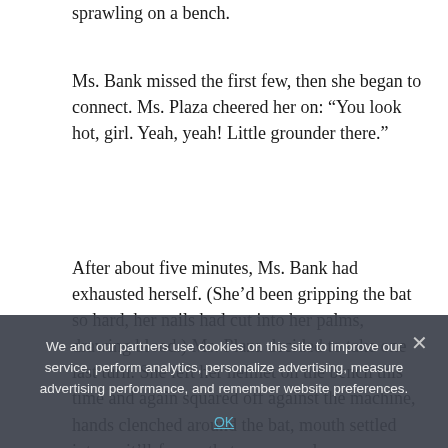sprawling on a bench.
Ms. Bank missed the first few, then she began to connect. Ms. Plaza cheered her on: “You look hot, girl. Yeah, yeah! Little grounder there.”
After about five minutes, Ms. Bank had exhausted herself. (She’d been gripping the bat so hard, her nails had cut into her palms, drawing blood.) Ms. Plaza decided to take one last turn. She left her helmet on the bench this time and again squared off against the machine, hands clenched around the bat, mouth settled into an it’ll-freeze-that-way scowl.
“It’s just so fun,” she said impassively, as another ball
We and our partners use cookies on this site to improve our service, perform analytics, personalize advertising, measure advertising performance, and remember website preferences.
OK